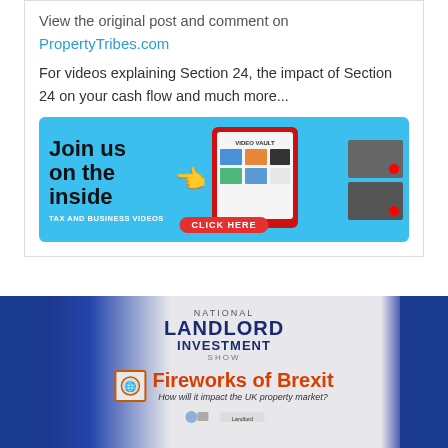View the original post and comment on
PropertyTribes.com
For videos explaining Section 24, the impact of Section 24 on your cash flow and much more...
[Figure (infographic): Blue advertisement banner reading 'Join us on the inside' with a yellow pointing hand emoji, a tablet showing VIDEO VAULT content, and a red CLICK HERE button. Text at bottom left reads TAX AND BUSINESS VIDEOS.]
[Figure (photo): Photo of a presentation screen at the National Landlord Investment Show displaying 'Fireworks of Brexit - How will it impact the UK property market?' with logos at the bottom. Blue lighting on sides.]